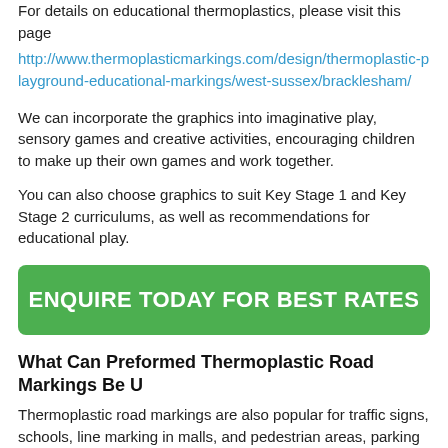For details on educational thermoplastics, please visit this page
http://www.thermoplasticmarkings.com/design/thermoplastic-playground-educational-markings/west-sussex/bracklesham/
We can incorporate the graphics into imaginative play, sensory games and creative activities, encouraging children to make up their own games and work together.
You can also choose graphics to suit Key Stage 1 and Key Stage 2 curriculums, as well as recommendations for educational play.
[Figure (other): Green button with text ENQUIRE TODAY FOR BEST RATES]
What Can Preformed Thermoplastic Road Markings Be U
Thermoplastic road markings are also popular for traffic signs, schools, line marking in malls, and pedestrian areas, parking lots, and long-distance bike lanes because of their safety and visibility.
How Do You Apply Preformed Thermoplastic Road Marki
Hot melt marking paint, commonly known as thermoplastic road